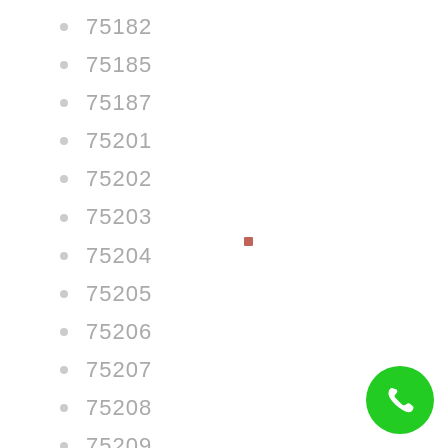75182
75185
75187
75201
75202
75203
75204
75205
75206
75207
75208
75209
75210
75211
75212
75214
75215
75216